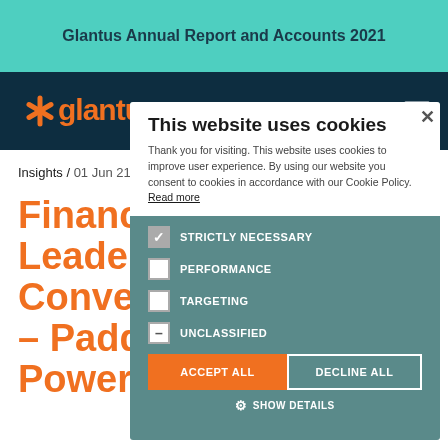Glantus Annual Report and Accounts 2021
[Figure (logo): Glantus logo in orange with star/asterisk icon on dark navy background]
Insights / 01 Jun 21
Finance Leaders in Conversation – Paddy Power Betfair
[Figure (screenshot): Cookie consent modal overlay on website. Title: 'This website uses cookies'. Body text: 'Thank you for visiting. This website uses cookies to improve user experience. By using our website you consent to cookies in accordance with our Cookie Policy. Read more'. Checkboxes: STRICTLY NECESSARY (checked), PERFORMANCE (unchecked), TARGETING (unchecked), UNCLASSIFIED (partially checked). Buttons: ACCEPT ALL (orange), DECLINE ALL (white outlined). SHOW DETAILS link at bottom.]